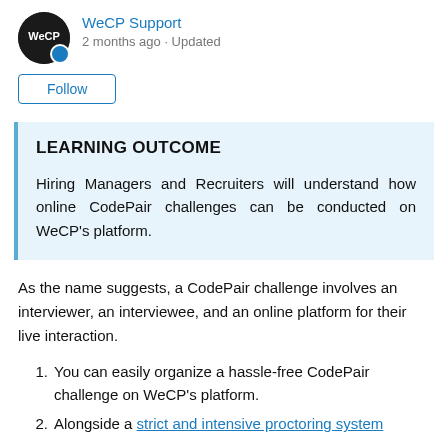WeCP Support
2 months ago · Updated
Follow
LEARNING OUTCOME
Hiring Managers and Recruiters will understand how online CodePair challenges can be conducted on WeCP's platform.
As the name suggests, a CodePair challenge involves an interviewer, an interviewee, and an online platform for their live interaction.
You can easily organize a hassle-free CodePair challenge on WeCP's platform.
Alongside a strict and intensive proctoring system